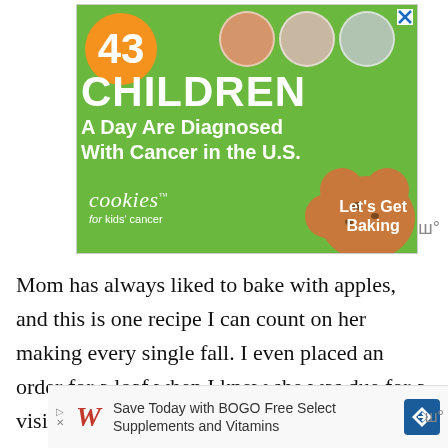[Figure (infographic): Advertisement for Cookies for Kids' Cancer. Green background with orange bubble showing '43', three children photos in circles, large text 'CHILDREN A Day Are Diagnosed With Cancer in the U.S.' with cookies brand logo and 'Let's Get Baking' text with cookie image.]
Mom has always liked to bake with apples, and this is one recipe I can count on her making every single fall. I even placed an order for a loaf when I knew she was due for a visit!
[Figure (infographic): Walgreens advertisement: 'Save Today with BOGO Free Select Supplements and Vitamins']